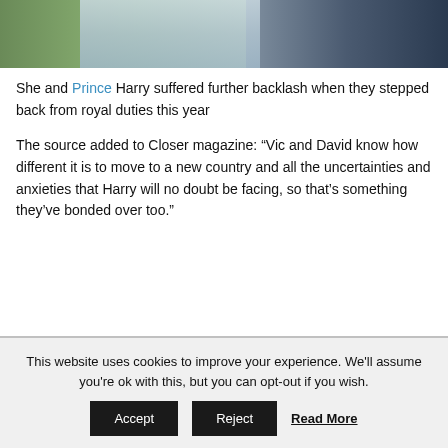[Figure (photo): Partial photo of a person in a light blue shirt against a green background, cropped to show only the lower torso/shoulder area.]
She and Prince Harry suffered further backlash when they stepped back from royal duties this year
The source added to Closer magazine: “Vic and David know how different it is to move to a new country and all the uncertainties and anxieties that Harry will no doubt be facing, so that's something they've bonded over too.”
This website uses cookies to improve your experience. We'll assume you're ok with this, but you can opt-out if you wish.